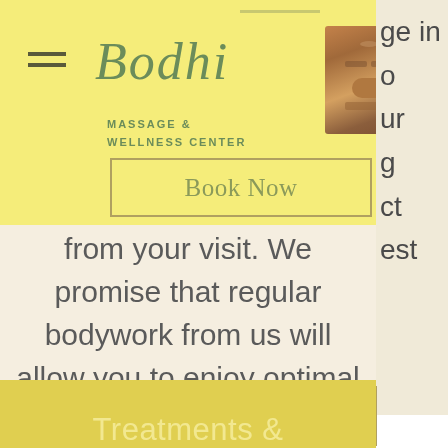[Figure (logo): Bodhi Massage & Wellness Center logo with cursive green text and Buddha face image]
ge in
o
ur
g
ct
est
Book Now
from your visit. We promise that regular bodywork from us will allow you to enjoy optimal results.
Book Now
Treatments &